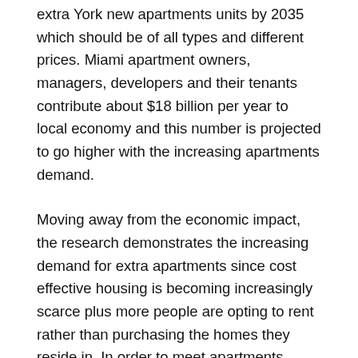extra York new apartments units by 2035 which should be of all types and different prices. Miami apartment owners, managers, developers and their tenants contribute about $18 billion per year to local economy and this number is projected to go higher with the increasing apartments demand.
Moving away from the economic impact, the research demonstrates the increasing demand for extra apartments since cost effective housing is becoming increasingly scarce plus more people are opting to rent rather than purchasing the homes they reside in. In order to meet apartments demand in the entire nation, developers must establish more 325k new apartment construction projects annually on
[Figure (other): Advertisement banner for Boost Mobile featuring orange logo with 'boost' text, headline 'America's Largest 5G Networks', subtitle 'Boost Mobile', and a blue diamond-shaped navigation arrow icon. Play and close controls at bottom left.]